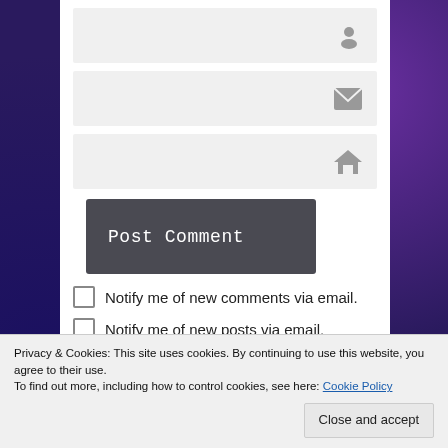[Figure (screenshot): Form input field with user/person icon on right]
[Figure (screenshot): Form input field with email/envelope icon on right]
[Figure (screenshot): Form input field with home/house icon on right]
Post Comment
Notify me of new comments via email.
Notify me of new posts via email.
Privacy & Cookies: This site uses cookies. By continuing to use this website, you agree to their use.
To find out more, including how to control cookies, see here: Cookie Policy
Close and accept